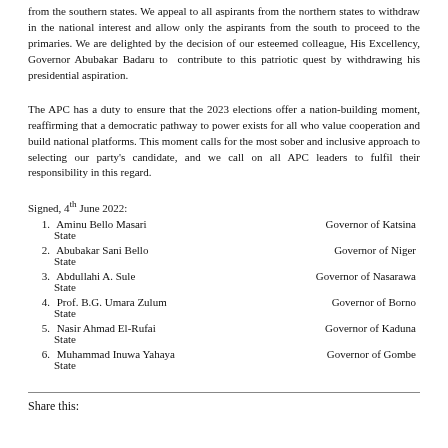from the southern states. We appeal to all aspirants from the northern states to withdraw in the national interest and allow only the aspirants from the south to proceed to the primaries. We are delighted by the decision of our esteemed colleague, His Excellency, Governor Abubakar Badaru to contribute to this patriotic quest by withdrawing his presidential aspiration.
The APC has a duty to ensure that the 2023 elections offer a nation-building moment, reaffirming that a democratic pathway to power exists for all who value cooperation and build national platforms. This moment calls for the most sober and inclusive approach to selecting our party's candidate, and we call on all APC leaders to fulfil their responsibility in this regard.
Signed, 4th June 2022:
1. Aminu Bello Masari — Governor of Katsina State
2. Abubakar Sani Bello — Governor of Niger State
3. Abdullahi A. Sule — Governor of Nasarawa State
4. Prof. B.G. Umara Zulum — Governor of Borno State
5. Nasir Ahmad El-Rufai — Governor of Kaduna State
6. Muhammad Inuwa Yahaya — Governor of Gombe State
Share this: